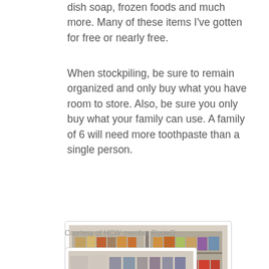dish soap, frozen foods and much more. Many of these items I've gotten for free or nearly free.
When stockpiling, be sure to remain organized and only buy what you have room to store. Also, be sure you only buy what your family can use. A family of 6 will need more toothpaste than a single person.
[Figure (photo): Photo of two metal wire storage shelving units filled with canned goods, bottles, and packaged foods in a stockpile pantry.]
Courtesy of HCW member RosieG
[Figure (photo): Photo of shelves with various canned and packaged food items in a stockpile pantry.]